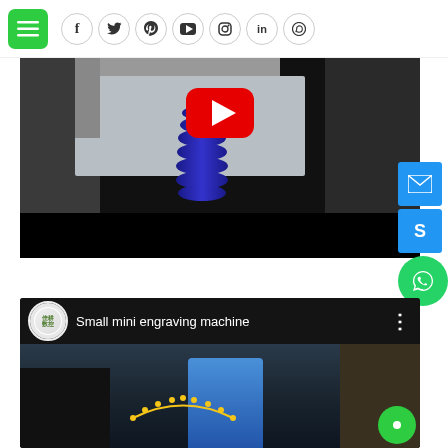Navigation header with hamburger menu and social icons: Facebook, Twitter, Pinterest, YouTube, Instagram, LinkedIn, WhatsApp
[Figure (screenshot): YouTube video thumbnail showing a CNC engraving machine with a blue spiral component on a metal plate, with YouTube play button overlay and black control bar at bottom]
[Figure (screenshot): YouTube video titled 'Small mini engraving machine' from channel 佳耕数控, showing a blue CNC engraving machine with LED light strip]
[Figure (other): Side floating action buttons: email (blue square), Skype (blue circle), WhatsApp (green circle)]
[Figure (other): Green chat bubble button at bottom right]